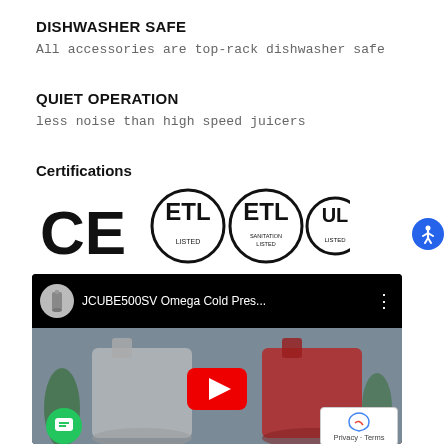DISHWASHER SAFE
All accessories are top-rack dishwasher safe
QUIET OPERATION
less noise than high speed juicers
Certifications
[Figure (logo): Certification logos: CE, ETL Listed, ETL Sanitation Listed, UL Listed]
[Figure (screenshot): YouTube video thumbnail showing JCUBE500SV Omega Cold Press juicers in silver and red with play button overlay]